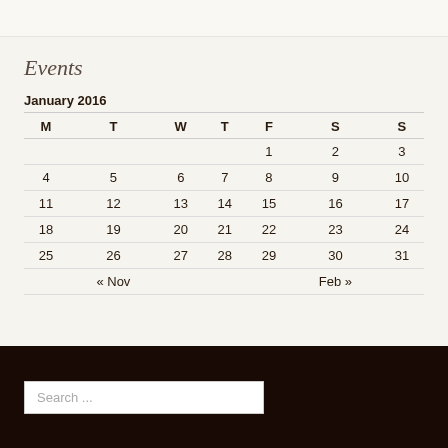Events
January 2016
| M | T | W | T | F | S | S |
| --- | --- | --- | --- | --- | --- | --- |
|  |  |  |  | 1 | 2 | 3 |
| 4 | 5 | 6 | 7 | 8 | 9 | 10 |
| 11 | 12 | 13 | 14 | 15 | 16 | 17 |
| 18 | 19 | 20 | 21 | 22 | 23 | 24 |
| 25 | 26 | 27 | 28 | 29 | 30 | 31 |
|  | « Nov |  |  |  | Feb » |  |
Search ...